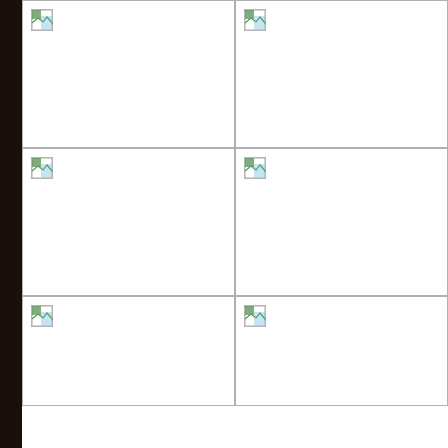[Figure (photo): Broken image placeholder, top-left cell]
[Figure (photo): Broken image placeholder, top-right cell]
[Figure (photo): Broken image placeholder, middle-left cell]
[Figure (photo): Broken image placeholder, middle-right cell]
[Figure (photo): Broken image placeholder, bottom-left cell]
[Figure (photo): Broken image placeholder, bottom-right cell]